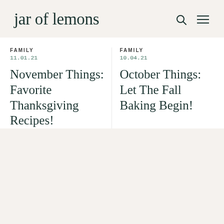jar of lemons
jar of lemons [search] [menu]
FAMILY
11.01.21
November Things: Favorite Thanksgiving Recipes!
FAMILY
10.04.21
October Things: Let The Fall Baking Begin!